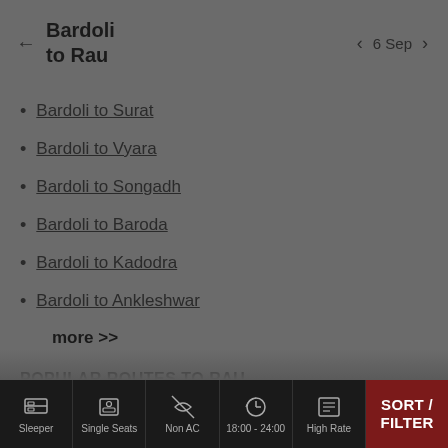Bardoli to Rau
6 Sep
Bardoli to Surat
Bardoli to Vyara
Bardoli to Songadh
Bardoli to Baroda
Bardoli to Kadodra
Bardoli to Ankleshwar
more >>
POPULAR ROUTES TO RAU
Pune to Rau
Sleeper  Single Seats  Non AC  18:00 - 24:00  High Rate  SORT / FILTER